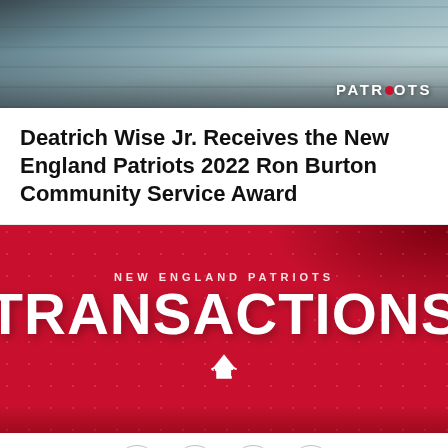[Figure (photo): Photo of people gathered, likely New England Patriots event, with 'PATRIOTS' text overlay in upper right corner]
Deatrich Wise Jr. Receives the New England Patriots 2022 Ron Burton Community Service Award
[Figure (infographic): New England Patriots Transactions graphic — red background with 'NEW ENGLAND PATRIOTS' above large 'TRANSACTIONS' text and Patriots logo below]
Social sharing icons: Facebook, Twitter, Email, Link